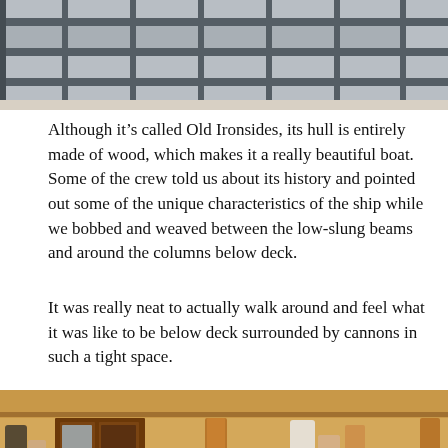[Figure (photo): Partial view of a building exterior with metal railings and mesh fencing, gray concrete backdrop.]
Although it’s called Old Ironsides, its hull is entirely made of wood, which makes it a really beautiful boat. Some of the crew told us about its history and pointed out some of the unique characteristics of the ship while we bobbed and weaved between the low-slung beams and around the columns below deck.
It was really neat to actually walk around and feel what it was like to be below deck surrounded by cannons in such a tight space.
[Figure (photo): Interior view of the below-deck area of Old Ironsides (USS Constitution), showing wooden columns, antique wooden furniture/chest, and visitors exploring the tight space.]